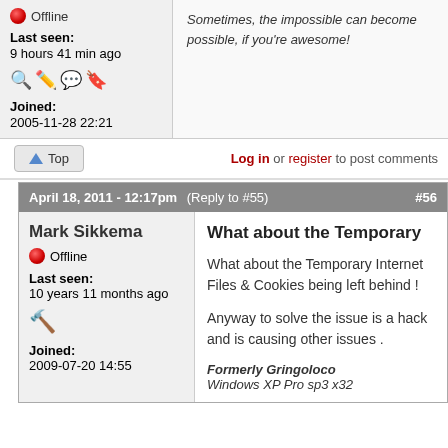Offline
Last seen: 9 hours 41 min ago
Joined: 2005-11-28 22:21
Sometimes, the impossible can become possible, if you're awesome!
Log in or register to post comments
April 18, 2011 - 12:17pm (Reply to #55) #56
Mark Sikkema
Offline
Last seen: 10 years 11 months ago
Joined: 2009-07-20 14:55
What about the Temporary
What about the Temporary Internet Files & Cookies being left behind !
Anyway to solve the issue is a hack and is causing other issues .
Formerly Gringoloco
Windows XP Pro sp3 x32